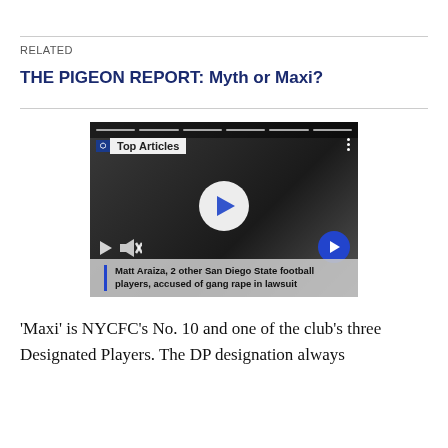RELATED
THE PIGEON REPORT: Myth or Maxi?
[Figure (screenshot): Embedded video player showing a man in a white shirt. Overlay shows 'Top Articles' label, play button, mute and play controls, a blue arrow button, and a caption bar reading: Matt Araiza, 2 other San Diego State football players, accused of gang rape in lawsuit]
'Maxi' is NYCFC's No. 10 and one of the club's three Designated Players. The DP designation always